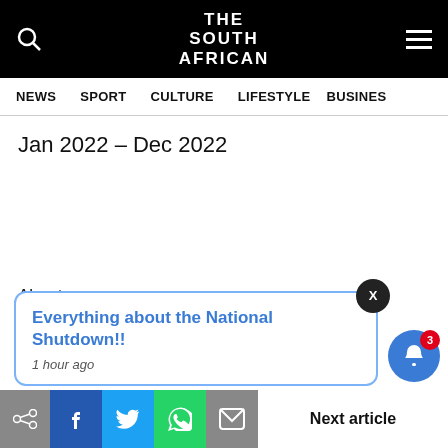THE SOUTH AFRICAN
NEWS  SPORT  CULTURE  LIFESTYLE  BUSINESS
Jan 2022 – Dec 2022
About us
Terms, Conditions, Privacy & GDPR
Contact Us
Everything about the National Shutdown!!
1 hour ago
Next article